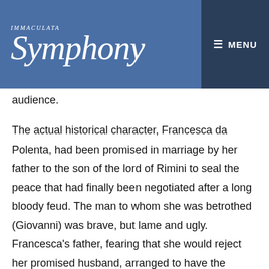IMMACULATA Symphony  ≡ MENU
audience.
The actual historical character, Francesca da Polenta, had been promised in marriage by her father to the son of the lord of Rimini to seal the peace that had finally been negotiated after a long bloody feud. The man to whom she was betrothed (Giovanni) was brave, but lame and ugly. Francesca's father, fearing that she would reject her promised husband, arranged to have the marriage done by proxy, through Giovanni's